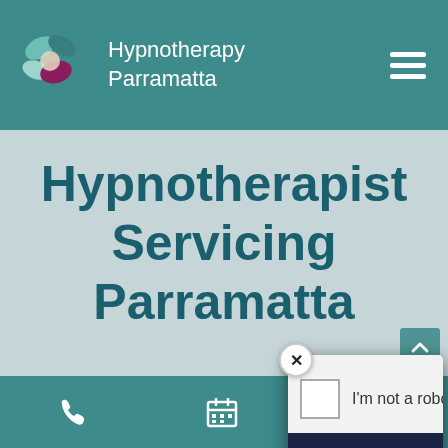Hypnotherapy Parramatta
Hypnotherapist Servicing Parramatta
[Figure (screenshot): reCAPTCHA popup with 'I'm not a robot' checkbox and CAPTCHA image showing 'vim' text on dark background]
Phone, Calendar, Car icons navigation bar